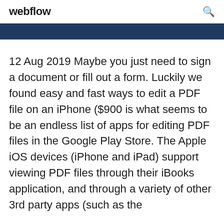webflow
12 Aug 2019 Maybe you just need to sign a document or fill out a form. Luckily we found easy and fast ways to edit a PDF file on an iPhone ($900 is what seems to be an endless list of apps for editing PDF files in the Google Play Store. The Apple iOS devices (iPhone and iPad) support viewing PDF files through their iBooks application, and through a variety of other 3rd party apps (such as the